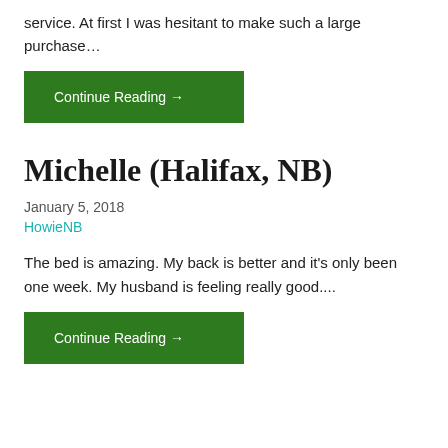service. At first I was hesitant to make such a large purchase…
Continue Reading →
Michelle (Halifax, NB)
January 5, 2018
HowieNB
The bed is amazing. My back is better and it's only been one week. My husband is feeling really good....
Continue Reading →